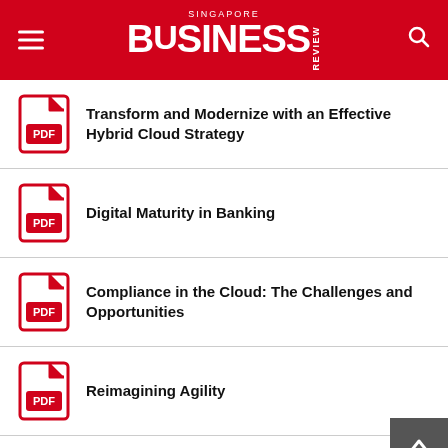Singapore Business Review
Transform and Modernize with an Effective Hybrid Cloud Strategy
Digital Maturity in Banking
Compliance in the Cloud: The Challenges and Opportunities
Reimagining Agility
How to unlock the full potential of your cloud investments
Artificial Intelligence Practices That Deliver Results